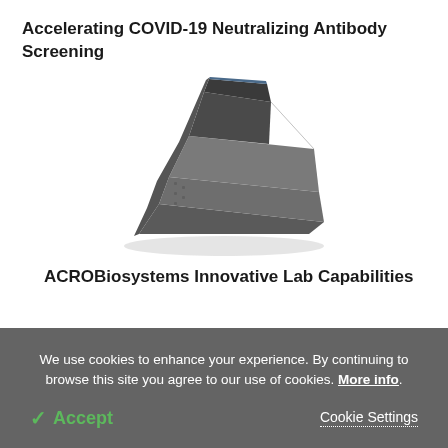Accelerating COVID-19 Neutralizing Antibody Screening
[Figure (photo): Photo of a dark grey laboratory device/instrument (appears to be a plate reader or similar lab equipment) shown at an angle on a white background.]
ACROBiosystems Innovative Lab Capabilities
We use cookies to enhance your experience. By continuing to browse this site you agree to our use of cookies. More info.
✓ Accept
Cookie Settings